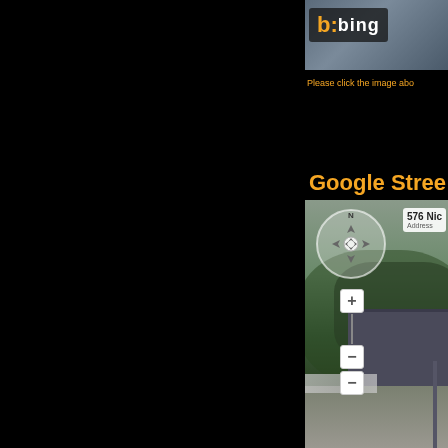[Figure (screenshot): Bing Maps logo/image screenshot in upper right portion of page]
Please click the image abo
Google Stree
[Figure (screenshot): Google Street View interactive map widget showing a street view of 576 Nic... with navigation controls, zoom slider, and a residential street scene with trees and a house]